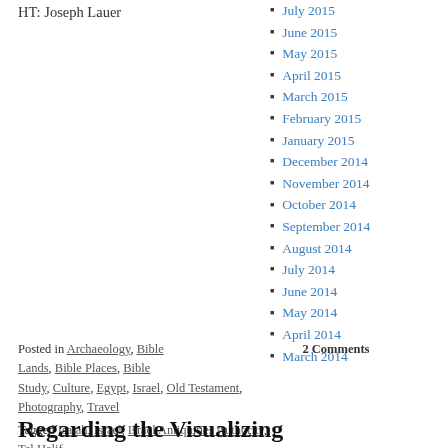HT: Joseph Lauer
Posted in Archaeology, Bible Lands, Bible Places, Bible Study, Culture, Egypt, Israel, Old Testament, Photography, Travel   2 Comments
Tagged Isaiah, Israel, Israel Antiquities Authority, Tel Halif
Regarding the Visualizing
July 2015
June 2015
May 2015
April 2015
March 2015
February 2015
January 2015
December 2014
November 2014
October 2014
September 2014
August 2014
July 2014
June 2014
May 2014
April 2014
March 2014